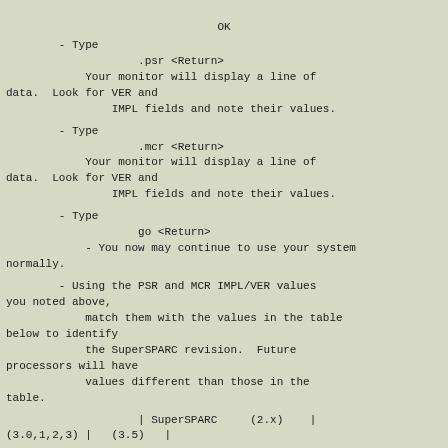OK
- Type
            .psr <Return>
       Your monitor will display a line of data.  Look for VER and
            IMPL fields and note their values.
- Type
            .mcr <Return>
       Your monitor will display a line of data.  Look for VER and
            IMPL fields and note their values.
- Type
            go <Return>
       - You now may continue to use your system normally.
- Using the PSR and MCR IMPL/VER values you noted above,
       match them with the values in the table below to identify
       the SuperSPARC revision.  Future processors will have
       values different than those in the table.
| SuperSPARC    (2.x)   |
(3.0,1,2,3) |   (3.5)   |